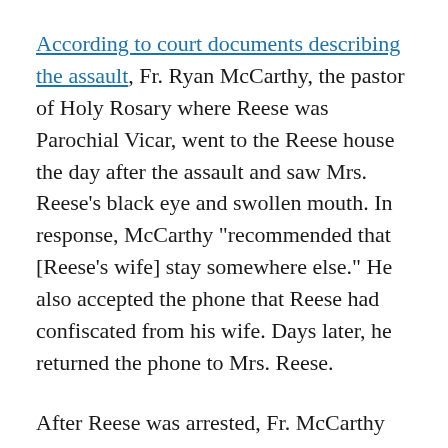According to court documents describing the assault, Fr. Ryan McCarthy, the pastor of Holy Rosary where Reese was Parochial Vicar, went to the Reese house the day after the assault and saw Mrs. Reese’s black eye and swollen mouth. In response, McCarthy “recommended that [Reese’s wife] stay somewhere else.” He also accepted the phone that Reese had confiscated from his wife. Days later, he returned the phone to Mrs. Reese.
After Reese was arrested, Fr. McCarthy announced in the church bulletin that Reese would go on “leave” that would last “at least a few months.” He admonished the parishioners, “mind your own business.” Although he had